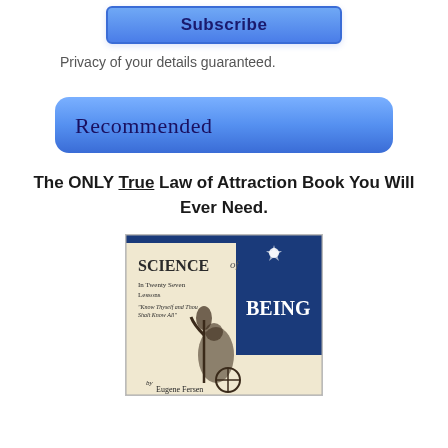[Figure (other): Subscribe button - blue rounded rectangle with dark blue text]
Privacy of your details guaranteed.
Recommended
The ONLY True Law of Attraction Book You Will Ever Need.
[Figure (photo): Book cover: Science of Being in Twenty Seven Lessons by Eugene Fersen, featuring a classical figure holding a torch against a blue and cream background]